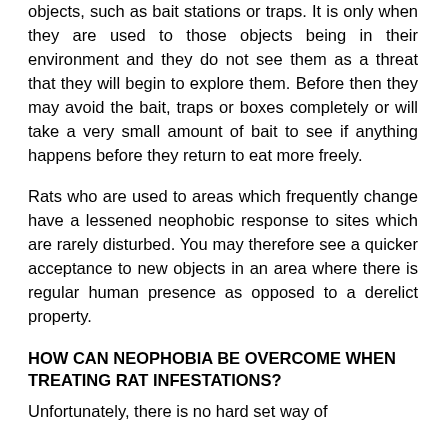objects, such as bait stations or traps. It is only when they are used to those objects being in their environment and they do not see them as a threat that they will begin to explore them. Before then they may avoid the bait, traps or boxes completely or will take a very small amount of bait to see if anything happens before they return to eat more freely.
Rats who are used to areas which frequently change have a lessened neophobic response to sites which are rarely disturbed. You may therefore see a quicker acceptance to new objects in an area where there is regular human presence as opposed to a derelict property.
HOW CAN NEOPHOBIA BE OVERCOME WHEN TREATING RAT INFESTATIONS?
Unfortunately, there is no hard set way of